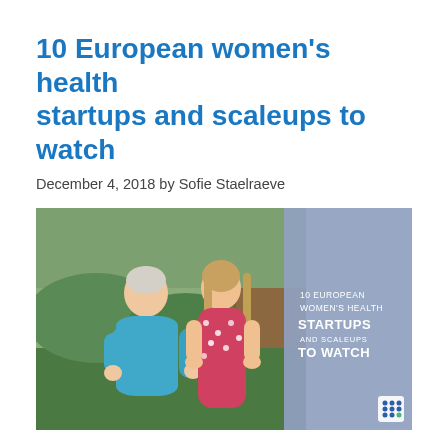10 European women's health startups and scaleups to watch
December 4, 2018 by Sofie Staelraeve
[Figure (photo): Two women standing outdoors in a rural/garden setting. An older woman in a teal blouse and a younger woman in a floral dress. The right side of the image shows a semi-transparent blue-grey overlay with text reading '10 EUROPEAN WOMEN'S HEALTH STARTUPS AND SCALEUPS TO WATCH' and a small logo icon in the bottom right corner.]